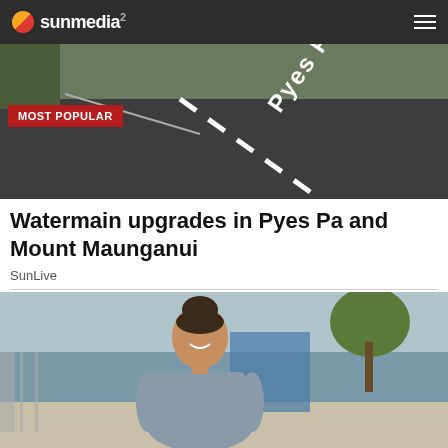sunmedia
[Figure (photo): Aerial road photo showing 'Pyes Pa' text painted on asphalt road surface with lane markings, dark grey pavement with surrounding greenery]
MOST POPULAR
Watermain upgrades in Pyes Pa and Mount Maunganui
SunLive
[Figure (photo): Young woman with dark hair in updo, wearing a grey fitted dress, smiling outdoors on a footpath with trees and buildings in background]